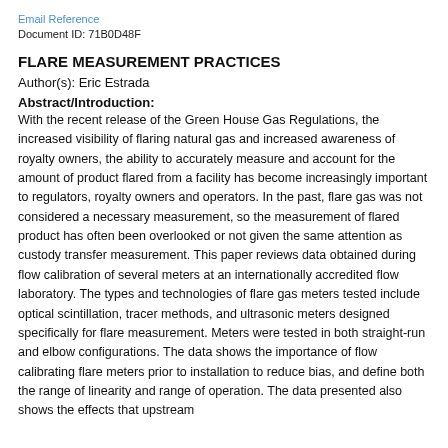Email Reference
Document ID: 71B0D48F
FLARE MEASUREMENT PRACTICES
Author(s): Eric Estrada
Abstract/Introduction:
With the recent release of the Green House Gas Regulations, the increased visibility of flaring natural gas and increased awareness of royalty owners, the ability to accurately measure and account for the amount of product flared from a facility has become increasingly important to regulators, royalty owners and operators. In the past, flare gas was not considered a necessary measurement, so the measurement of flared product has often been overlooked or not given the same attention as custody transfer measurement. This paper reviews data obtained during flow calibration of several meters at an internationally accredited flow laboratory. The types and technologies of flare gas meters tested include optical scintillation, tracer methods, and ultrasonic meters designed specifically for flare measurement. Meters were tested in both straight-run and elbow configurations. The data shows the importance of flow calibrating flare meters prior to installation to reduce bias, and define both the range of linearity and range of operation. The data presented also shows the effects that upstream